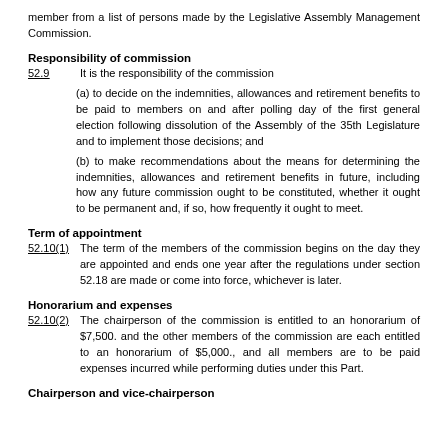member from a list of persons made by the Legislative Assembly Management Commission.
Responsibility of commission
52.9   It is the responsibility of the commission
(a) to decide on the indemnities, allowances and retirement benefits to be paid to members on and after polling day of the first general election following dissolution of the Assembly of the 35th Legislature and to implement those decisions; and
(b) to make recommendations about the means for determining the indemnities, allowances and retirement benefits in future, including how any future commission ought to be constituted, whether it ought to be permanent and, if so, how frequently it ought to meet.
Term of appointment
52.10(1)   The term of the members of the commission begins on the day they are appointed and ends one year after the regulations under section 52.18 are made or come into force, whichever is later.
Honorarium and expenses
52.10(2)   The chairperson of the commission is entitled to an honorarium of $7,500. and the other members of the commission are each entitled to an honorarium of $5,000., and all members are to be paid expenses incurred while performing duties under this Part.
Chairperson and vice-chairperson